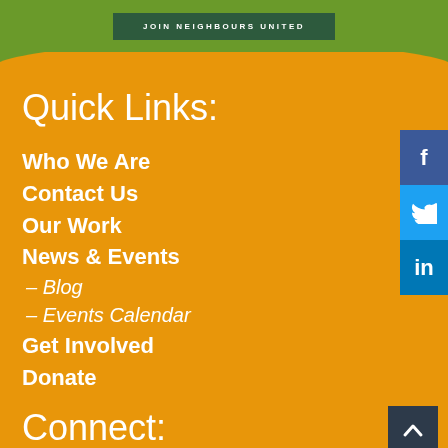JOIN NEIGHBOURS UNITED
Quick Links:
Who We Are
Contact Us
Our Work
News & Events
– Blog
– Events Calendar
Get Involved
Donate
Connect: